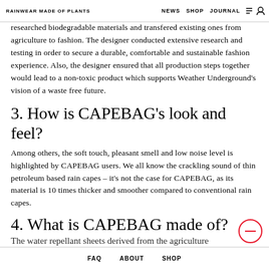RAINWEAR MADE OF PLANTS | NEWS  SHOP  JOURNAL
researched biodegradable materials and transfered existing ones from agriculture to fashion. The designer conducted extensive research and testing in order to secure a durable, comfortable and sustainable fashion experience. Also, the designer ensured that all production steps together would lead to a non-toxic product which supports Weather Underground's vision of a waste free future.
3. How is CAPEBAG's look and feel?
Among others, the soft touch, pleasant smell and low noise level is highlighted by CAPEBAG users. We all know the crackling sound of thin petroleum based rain capes – it's not the case for CAPEBAG, as its material is 10 times thicker and smoother compared to conventional rain capes.
4. What is CAPEBAG made of?
The water repellant sheets derived from the agriculture
FAQ  ABOUT  SHOP